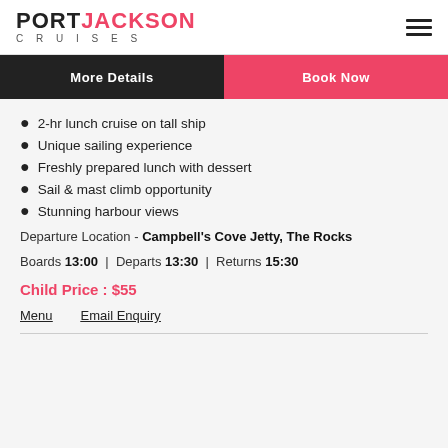PORT JACKSON CRUISES
More Details | Book Now
2-hr lunch cruise on tall ship
Unique sailing experience
Freshly prepared lunch with dessert
Sail & mast climb opportunity
Stunning harbour views
Departure Location - Campbell's Cove Jetty, The Rocks
Boards 13:00 | Departs 13:30 | Returns 15:30
Child Price : $55
Menu   Email Enquiry